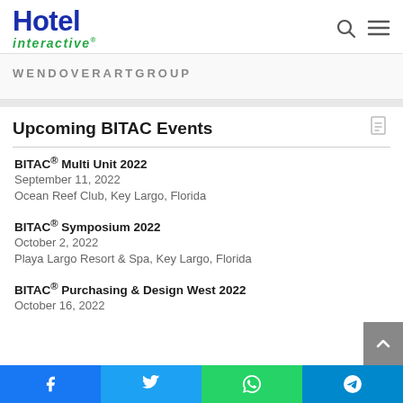Hotel interactive®
[Figure (logo): WENDOVERARTGROUP logo/advertisement banner]
Upcoming BITAC Events
BITAC® Multi Unit 2022
September 11, 2022
Ocean Reef Club, Key Largo, Florida
BITAC® Symposium 2022
October 2, 2022
Playa Largo Resort & Spa, Key Largo, Florida
BITAC® Purchasing & Design West 2022
October 16, 2022